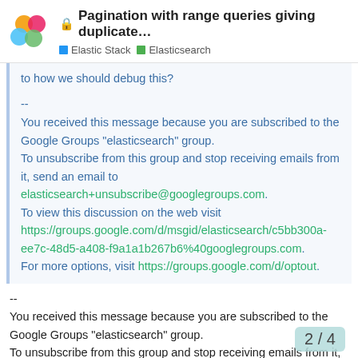🔒 Pagination with range queries giving duplicate… | Elastic Stack | Elasticsearch
to how we should debug this?
--
You received this message because you are subscribed to the Google Groups "elasticsearch" group.
To unsubscribe from this group and stop receiving emails from it, send an email to elasticsearch+unsubscribe@googlegroups.com.
To view this discussion on the web visit https://groups.google.com/d/msgid/elasticsearch/c5bb300a-ee7c-48d5-a408-f9a1a1b267b6%40googlegroups.com.
For more options, visit https://groups.google.com/d/optout.
--
You received this message because you are subscribed to the Google Groups "elasticsearch" group.
To unsubscribe from this group and stop receiving emails from it, send an email to elasticsearch+unsubscribe@googlegroups.
2 / 4